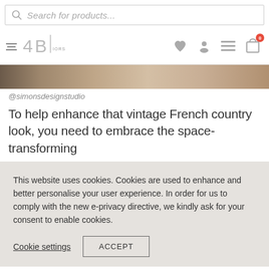[Figure (screenshot): Search bar with magnifying glass icon and placeholder text 'Search for products...']
[Figure (screenshot): Navigation bar with ABI Interiors logo on left, and icons (heart, user, menu, shopping bag with red badge showing 0) on right]
[Figure (photo): Partial hero image showing a warm-toned wooden or marble surface in beige/brown tones]
@simonsdesignstudio
To help enhance that vintage French country look, you need to embrace the space-transforming
This website uses cookies. Cookies are used to enhance and better personalise your user experience. In order for us to comply with the new e-privacy directive, we kindly ask for your consent to enable cookies.
Cookie settings
ACCEPT